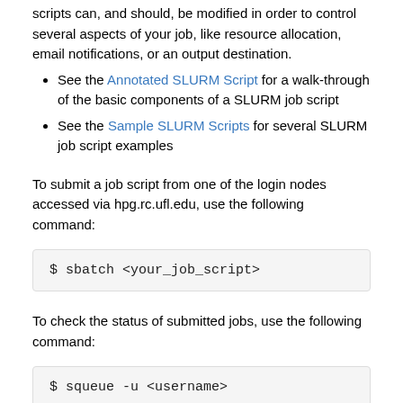scripts can, and should, be modified in order to control several aspects of your job, like resource allocation, email notifications, or an output destination.
See the Annotated SLURM Script for a walk-through of the basic components of a SLURM job script
See the Sample SLURM Scripts for several SLURM job script examples
To submit a job script from one of the login nodes accessed via hpg.rc.ufl.edu, use the following command:
$ sbatch <your_job_script>
To check the status of submitted jobs, use the following command:
$ squeue -u <username>
View SLURM_Commands for more useful SLURM commands.